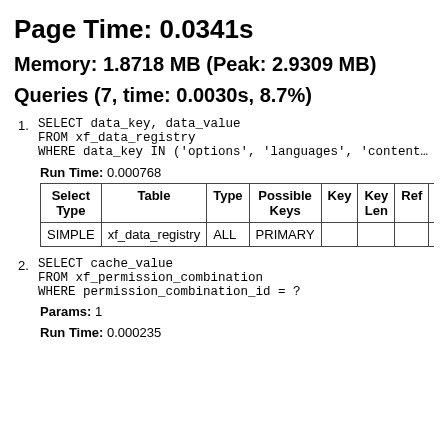Page Time: 0.0341s
Memory: 1.8718 MB (Peak: 2.9309 MB)
Queries (7, time: 0.0030s, 8.7%)
SELECT data_key, data_value
FROM xf_data_registry
WHERE data_key IN ('options', 'languages', 'content…
Run Time: 0.000768
| Select Type | Table | Type | Possible Keys | Key | Key Len | Ref | R… |
| --- | --- | --- | --- | --- | --- | --- | --- |
| SIMPLE | xf_data_registry | ALL | PRIMARY |  |  |  | 3… |
SELECT cache_value
FROM xf_permission_combination
WHERE permission_combination_id = ?
Params: 1
Run Time: 0.000235